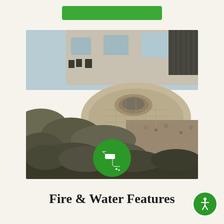[Figure (other): Green button/banner at the top of the page on a cream/beige background]
[Figure (photo): Outdoor patio with circular stone fire pit, paver patio, large boulders/rock retaining wall in foreground, gravel landscaping, house with deck in background. A green circle with a white faucet/water tap icon overlays the bottom center of the photo.]
Fire & Water Features